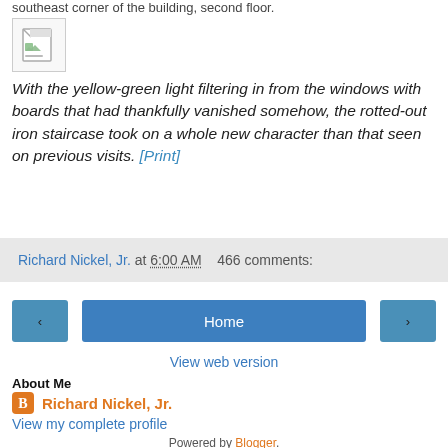southeast corner of the building, second floor.
[Figure (photo): Small thumbnail image placeholder with a landscape/document icon]
With the yellow-green light filtering in from the windows with boards that had thankfully vanished somehow, the rotted-out iron staircase took on a whole new character than that seen on previous visits. [Print]
Richard Nickel, Jr. at 6:00 AM   466 comments:
◀  Home  ▶
View web version
About Me
Richard Nickel, Jr.
View my complete profile
Powered by Blogger.